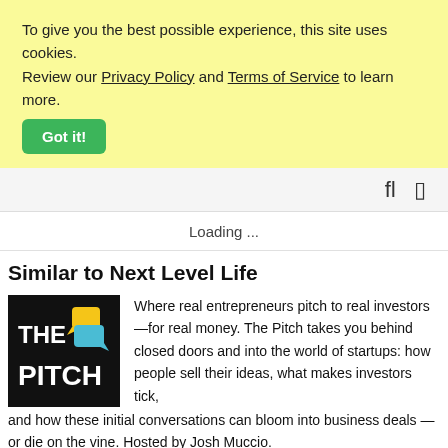To give you the best possible experience, this site uses cookies. Review our Privacy Policy and Terms of Service to learn more. Got it!
fl  []
Loading ...
Similar to Next Level Life
[Figure (logo): THE PITCH podcast logo — white bold text on black background with yellow and blue speech bubble icons]
Where real entrepreneurs pitch to real investors —for real money. The Pitch takes you behind closed doors and into the world of startups: how people sell their ideas, what makes investors tick, and how these initial conversations can bloom into business deals —or die on the vine. Hosted by Josh Muccio.